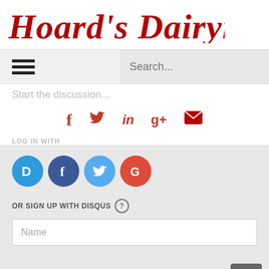Hoard's Dairyman
[Figure (screenshot): Navigation bar with hamburger menu icon on left and search box on right]
Start the discussion...
[Figure (infographic): Social share icons: Facebook, Twitter, LinkedIn, Google+, Email]
LOG IN WITH
[Figure (infographic): Login circle icons: Disqus (D), Facebook (f), Twitter bird, Google (G)]
OR SIGN UP WITH DISQUS ?
Name
Be the first to comment.